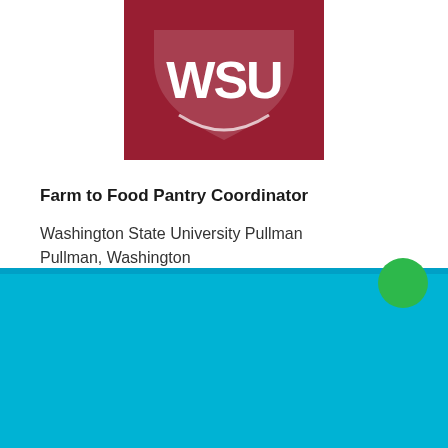[Figure (logo): Washington State University shield logo on dark red/crimson background. White WSU initials styled as a cougar inside a shield shape.]
Farm to Food Pantry Coordinator
Washington State University Pullman
Pullman, Washington
Cookie Settings   Got it
We use cookies so that we can remember you and understand how you use our site. If you do not agree with our use of cookies, please change the current settings found in our Cookie Policy. Otherwise, you agree to the use of the cookies as they are currently set.